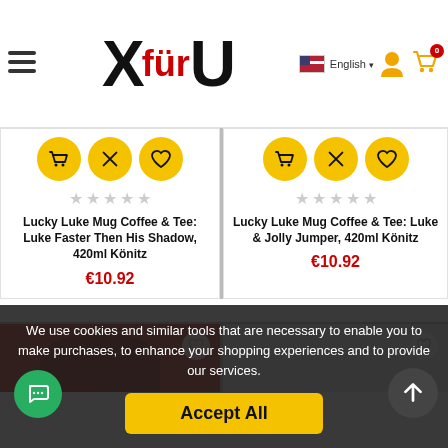[Figure (logo): XfürU e-commerce website logo with X and U in black bold font, 'für' in red]
English
Lucky Luke Mug Coffee & Tee: Luke Faster Then His Shadow, 420ml Könitz
€10.92
Lucky Luke Mug Coffee & Tee: Luke & Jolly Jumper, 420ml Könitz
€10.92
We use cookies and similar tools that are necessary to enable you to make purchases, to enhance your shopping experiences and to provide our services.